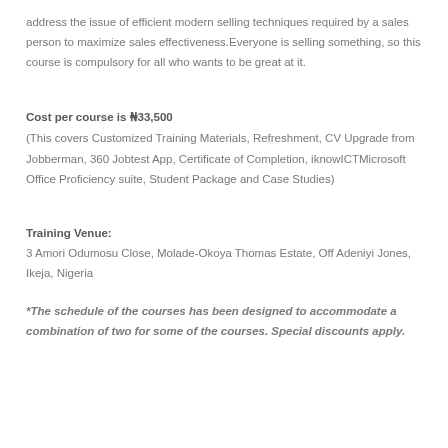address the issue of efficient modern selling techniques required by a sales person to maximize sales effectiveness.Everyone is selling something, so this course is compulsory for all who wants to be great at it.
Cost per course is N33,500
(This covers Customized Training Materials, Refreshment, CV Upgrade from Jobberman, 360 Jobtest App, Certificate of Completion, iknowICTMicrosoft Office Proficiency suite, Student Package and Case Studies)
Training Venue:
3 Amori Odumosu Close, Molade-Okoya Thomas Estate, Off Adeniyi Jones, Ikeja, Nigeria
*The schedule of the courses has been designed to accommodate a combination of two for some of the courses. Special discounts apply.